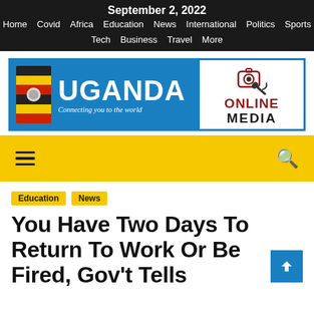September 2, 2022
Home  Covid  Africa  Education  News  International  Politics  Sports  Tech  Business  Travel  More
[Figure (logo): Uganda Online Media logo — blue banner with Ugandan flag, large white UGANDA text and tagline 'Connecting you to the world', plus camera/microphone graphic with ONLINE MEDIA text]
[Figure (infographic): Yellow navigation bar with hamburger menu icon on left and search icon on right]
Education
News
You Have Two Days To Return To Work Or Be Fired, Gov't Tells